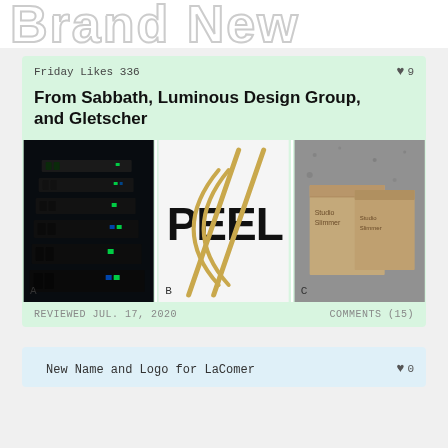Brand New
Friday Likes 336
♥ 9
From Sabbath, Luminous Design Group, and Gletscher
[Figure (photo): Three side-by-side images: A) dark scene with stacked backlit black panels with green accents, B) white background with bold text 'PEEL' and overlapping gold/brass lines, C) gray stone surface with tan/kraft paper boxes labeled 'Studio Slimmer']
A  B  C
REVIEWED JUL. 17, 2020
COMMENTS (15)
New Name and Logo for LaComer
♥ 0